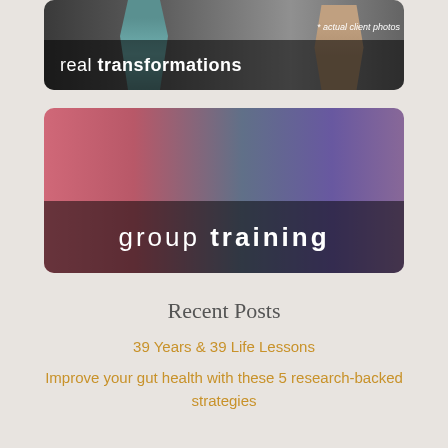[Figure (photo): Banner image with dark background showing people, text overlay reads 'real transformations' with '* actual client photos' note]
[Figure (photo): Banner image showing two women in a gym, one in pink top and one in purple top lifting kettlebell, text overlay reads 'group training']
Recent Posts
39 Years & 39 Life Lessons
Improve your gut health with these 5 research-backed strategies